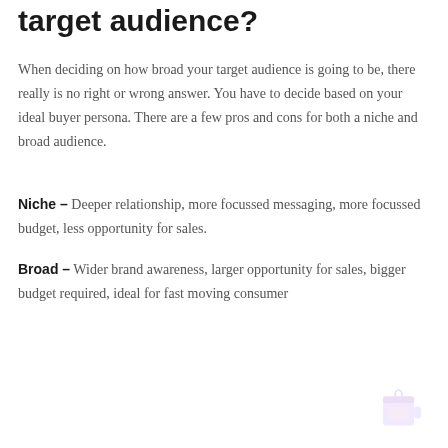target audience?
When deciding on how broad your target audience is going to be, there really is no right or wrong answer. You have to decide based on your ideal buyer persona. There are a few pros and cons for both a niche and broad audience.
Niche – Deeper relationship, more focussed messaging, more focussed budget, less opportunity for sales.
Broad – Wider brand awareness, larger opportunity for sales, bigger budget required, ideal for fast moving consumer